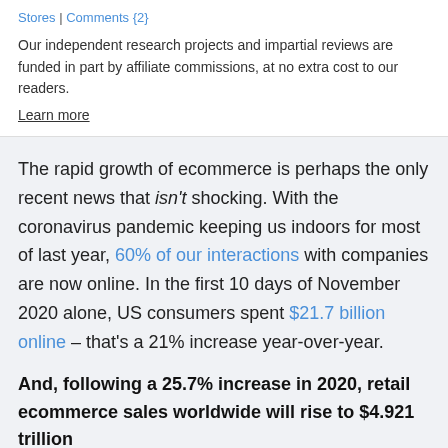Stores | Comments {2}
Our independent research projects and impartial reviews are funded in part by affiliate commissions, at no extra cost to our readers.
Learn more
The rapid growth of ecommerce is perhaps the only recent news that isn't shocking. With the coronavirus pandemic keeping us indoors for most of last year, 60% of our interactions with companies are now online. In the first 10 days of November 2020 alone, US consumers spent $21.7 billion online – that's a 21% increase year-over-year.
And, following a 25.7% increase in 2020, retail ecommerce sales worldwide will rise to $4.921 trillion